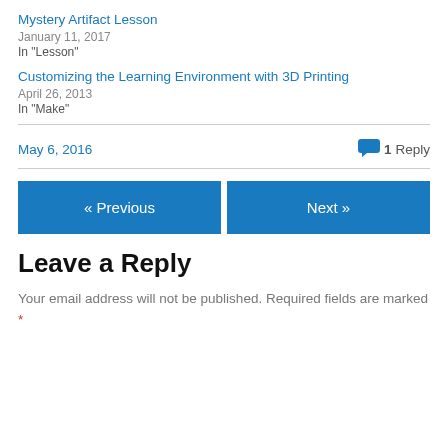Mystery Artifact Lesson
January 11, 2017
In "Lesson"
Customizing the Learning Environment with 3D Printing
April 26, 2013
In "Make"
May 6, 2016    1 Reply
« Previous
Next »
Leave a Reply
Your email address will not be published. Required fields are marked *